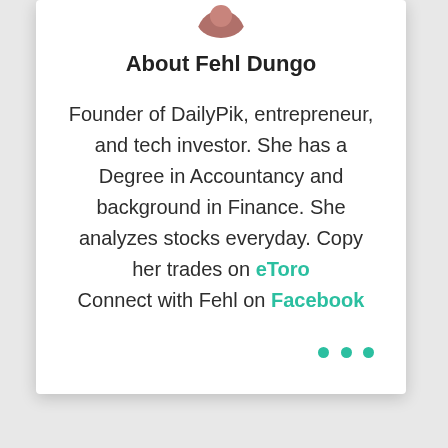[Figure (photo): Circular avatar photo of Fehl Dungo, partially cropped at top]
About Fehl Dungo
Founder of DailyPik, entrepreneur, and tech investor. She has a Degree in Accountancy and background in Finance. She analyzes stocks everyday. Copy her trades on eToro Connect with Fehl on Facebook